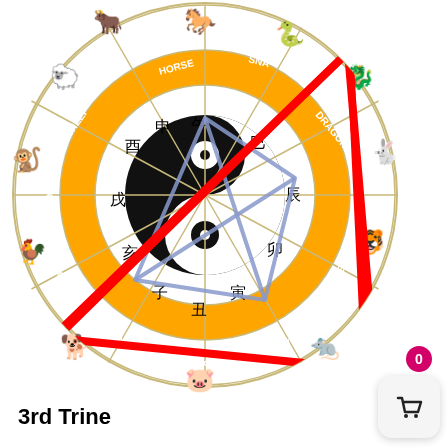[Figure (illustration): Chinese zodiac wheel (12 animals arranged in a circle with Chinese characters and animal names in an orange ring: Horse, Snake, Dragon, Rabbit, Tiger, Rat, Pig, Dog, Rooster, Monkey, Sheep) with a yin-yang symbol in the center. A red triangle (3rd Trine) and a blue quadrilateral are overlaid on the wheel. Animal illustrations appear around the outer edge.]
3rd Trine